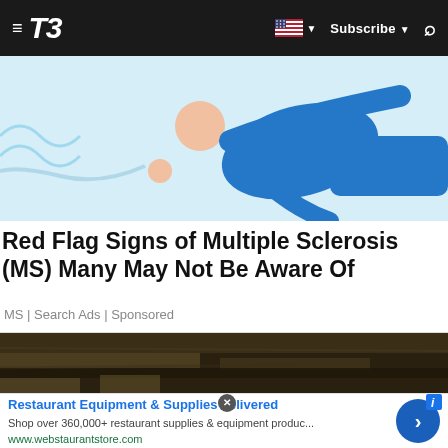T3 | Subscribe
[Figure (illustration): Illustration of a person in blue clothing in a dynamic pose, white/light blue background]
Red Flag Signs of Multiple Sclerosis (MS) Many May Not Be Aware Of
MS | Search Ads | Sponsored
[Figure (photo): Dark photo of what appears to be a wooden or stone surface, dim lighting]
Restaurant Equipment & Supplies delivered
Shop over 360,000+ restaurant supplies & equipment produc...
www.webstaurantstore.com